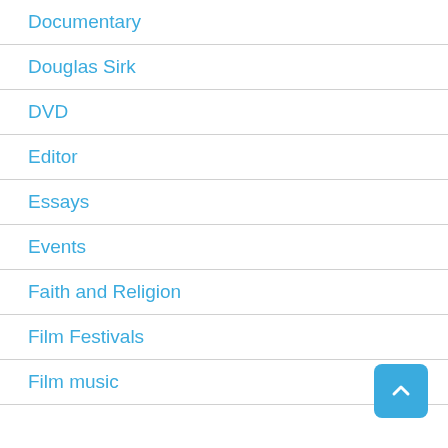Documentary
Douglas Sirk
DVD
Editor
Essays
Events
Faith and Religion
Film Festivals
Film music